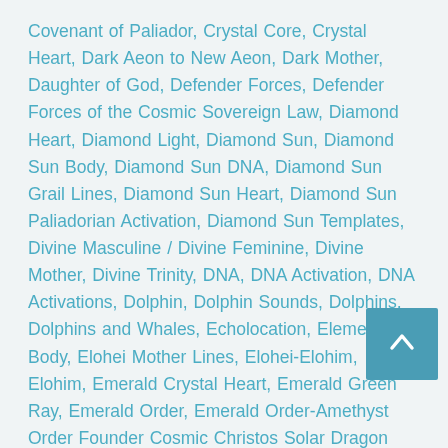Covenant of Paliador, Crystal Core, Crystal Heart, Dark Aeon to New Aeon, Dark Mother, Daughter of God, Defender Forces, Defender Forces of the Cosmic Sovereign Law, Diamond Heart, Diamond Light, Diamond Sun, Diamond Sun Body, Diamond Sun DNA, Diamond Sun Grail Lines, Diamond Sun Heart, Diamond Sun Paliadorian Activation, Diamond Sun Templates, Divine Masculine / Divine Feminine, Divine Mother, Divine Trinity, DNA, DNA Activation, DNA Activations, Dolphin, Dolphin Sounds, Dolphins, Dolphins and Whales, Echolocation, Elemental Body, Elohei Mother Lines, Elohei-Elohim, Elohim, Emerald Crystal Heart, Emerald Green Ray, Emerald Order, Emerald Order-Amethyst Order Founder Cosmic Christos Solar Dragon King Ezekiel, Emerald Ray, Energetic Synthesis, Enlightened Contact, Eternal God Source, Eukachristic Body, Ezekiel, Failsafe Mission Upgrade, Fa... Angelics, Family of Michael, Fascia Crystal Liquid Plasma... Light, Father Arc, Fifth Harmonic Universe, Founder Aqua Ray, Founder Cosmic Christos, Founder Gold Ray, Founder Violet-Magenta Ray, Four Living Creatures, Frequency of Sound...